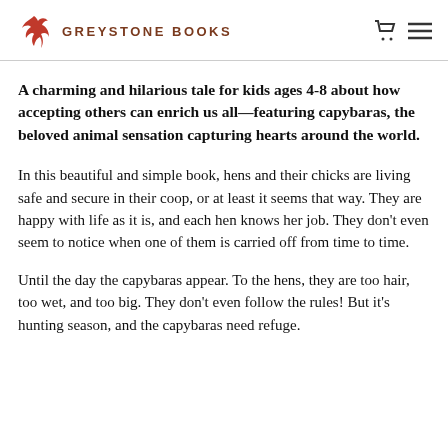GREYSTONE BOOKS
A charming and hilarious tale for kids ages 4-8 about how accepting others can enrich us all—featuring capybaras, the beloved animal sensation capturing hearts around the world.
In this beautiful and simple book, hens and their chicks are living safe and secure in their coop, or at least it seems that way. They are happy with life as it is, and each hen knows her job. They don't even seem to notice when one of them is carried off from time to time.
Until the day the capybaras appear. To the hens, they are too hair, too wet, and too big. They don't even follow the rules! But it's hunting season, and the capybaras need refuge.